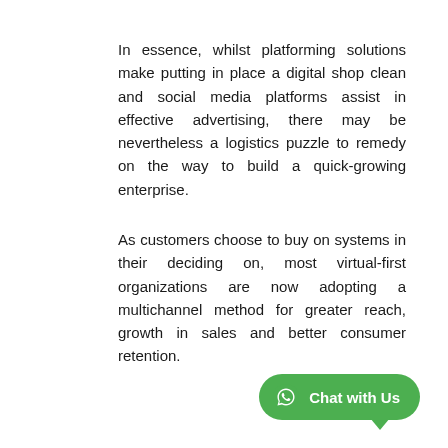In essence, whilst platforming solutions make putting in place a digital shop clean and social media platforms assist in effective advertising, there may be nevertheless a logistics puzzle to remedy on the way to build a quick-growing enterprise.
As customers choose to buy on systems in their deciding on, most virtual-first organizations are now adopting a multichannel method for greater reach, growth in sales and better consumer retention.
[Figure (other): WhatsApp Chat with Us button (green rounded rectangle with WhatsApp logo icon and speech bubble tail)]